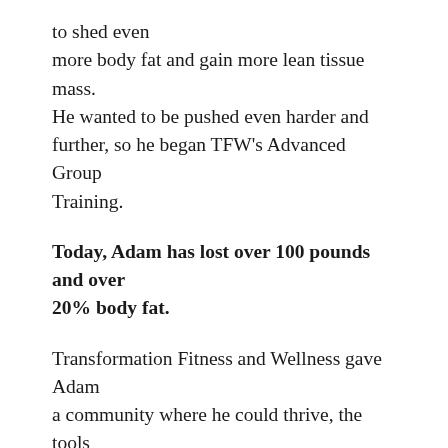to shed even more body fat and gain more lean tissue mass. He wanted to be pushed even harder and further, so he began TFW's Advanced Group Training.
Today, Adam has lost over 100 pounds and over 20% body fat.
Transformation Fitness and Wellness gave Adam a community where he could thrive, the tools and education necessary to make changes, and the accountability he needed to stay on track.